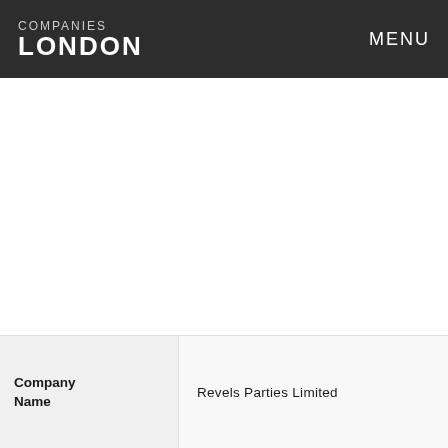COMPANIES LONDON   MENU
| Company Name |  |
| --- | --- |
| Company Name | Revels Parties Limited |